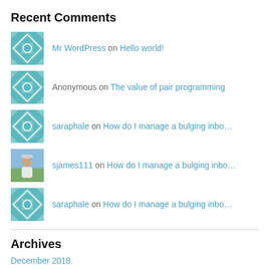Recent Comments
Mr WordPress on Hello world!
Anonymous on The value of pair programming
saraphale on How do I manage a bulging inbo...
sjames111 on How do I manage a bulging inbo...
saraphale on How do I manage a bulging inbo...
Archives
December 2018
May 2018